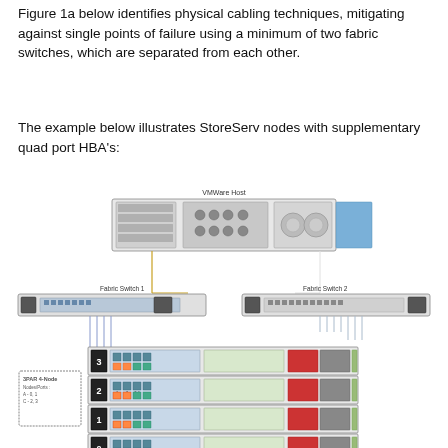Figure 1a below identifies physical cabling techniques, mitigating against single points of failure using a minimum of two fabric switches, which are separated from each other.
The example below illustrates StoreServ nodes with supplementary quad port HBA's:
[Figure (engineering-diagram): Network diagram showing a VMware Host server connected via yellow cables to Fabric Switch 1 and via lines to Fabric Switch 2. Both fabric switches connect down via blue/grey cables to a 3PAR 4-Node storage array (Nodes/Ports: A-0,1 and C-2,3). The storage unit shows nodes 0,1,2,3 with multiple HBA ports labeled 1,2,3,4.]